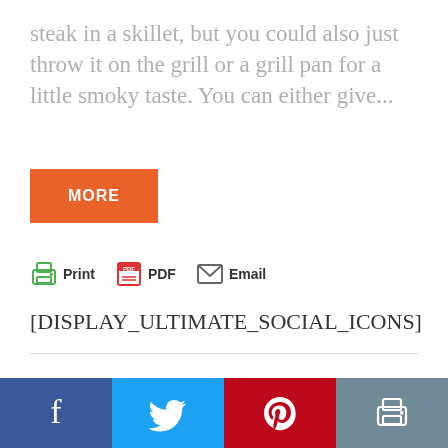steak in a skillet, but you could also just throw it on the grill or a grill pan for a little smoky taste. You can either give...
[Figure (other): Orange 'MORE' button]
[Figure (other): Print, PDF, Email share icons row]
[DISPLAY_ULTIMATE_SOCIAL_ICONS]
[Figure (other): Bottom social share bar with Facebook, Twitter, Pinterest, and Print buttons]